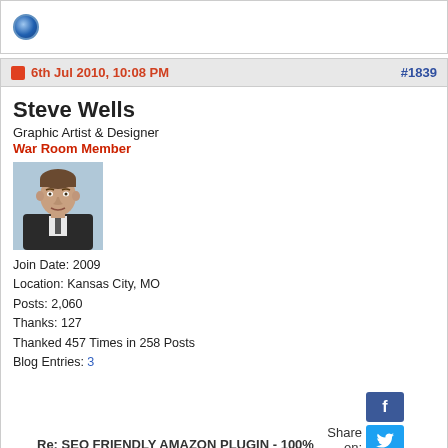6th Jul 2010, 10:08 PM   #1839
Steve Wells
Graphic Artist & Designer
War Room Member
[Figure (photo): Profile photo of Steve Wells, a man in a dark suit]
Join Date: 2009
Location: Kansas City, MO
Posts: 2,060
Thanks: 127
Thanked 457 Times in 258 Posts
Blog Entries: 3
Re: SEO FRIENDLY AMAZON PLUGIN - 100% Auto Pilot - VIDEO, DEMO SITE AND GOOGLE FIRST PAGE PROOF...